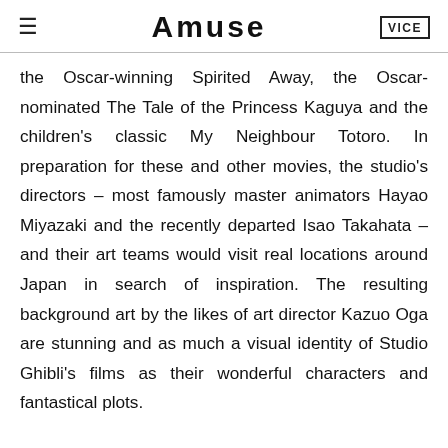Amuse  VICE
the Oscar-winning Spirited Away, the Oscar-nominated The Tale of the Princess Kaguya and the children's classic My Neighbour Totoro. In preparation for these and other movies, the studio's directors – most famously master animators Hayao Miyazaki and the recently departed Isao Takahata – and their art teams would visit real locations around Japan in search of inspiration. The resulting background art by the likes of art director Kazuo Oga are stunning and as much a visual identity of Studio Ghibli's films as their wonderful characters and fantastical plots.